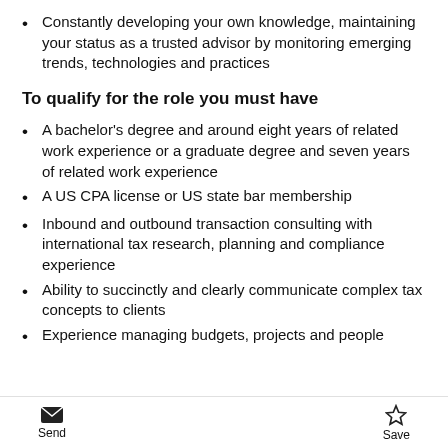Constantly developing your own knowledge, maintaining your status as a trusted advisor by monitoring emerging trends, technologies and practices
To qualify for the role you must have
A bachelor's degree and around eight years of related work experience or a graduate degree and seven years of related work experience
A US CPA license or US state bar membership
Inbound and outbound transaction consulting with international tax research, planning and compliance experience
Ability to succinctly and clearly communicate complex tax concepts to clients
Experience managing budgets, projects and people
Send  Save